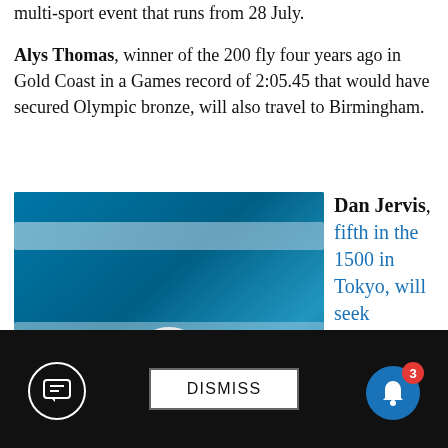multi-sport event that runs from 28 July.
Alys Thomas, winner of the 200 fly four years ago in Gold Coast in a Games record of 2:05.45 that would have secured Olympic bronze, will also travel to Birmingham.
[Figure (photo): Swimmer performing butterfly stroke in a pool, wearing a white swim cap and goggles, water splashing around them]
Dan Jervis, fifth in the 1500 in Tokyo, will seek
DISMISS